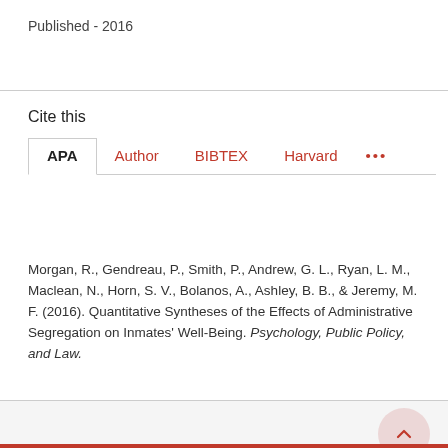Published - 2016
Cite this
APA  Author  BIBTEX  Harvard  ...
Morgan, R., Gendreau, P., Smith, P., Andrew, G. L., Ryan, L. M., Maclean, N., Horn, S. V., Bolanos, A., Ashley, B. B., & Jeremy, M. F. (2016). Quantitative Syntheses of the Effects of Administrative Segregation on Inmates' Well-Being. Psychology, Public Policy, and Law.